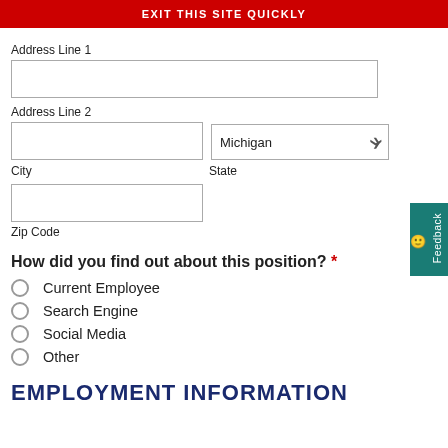EXIT THIS SITE QUICKLY
Address Line 1
Address Line 2
City
State
Zip Code
How did you find out about this position? *
Current Employee
Search Engine
Social Media
Other
EMPLOYMENT INFORMATION